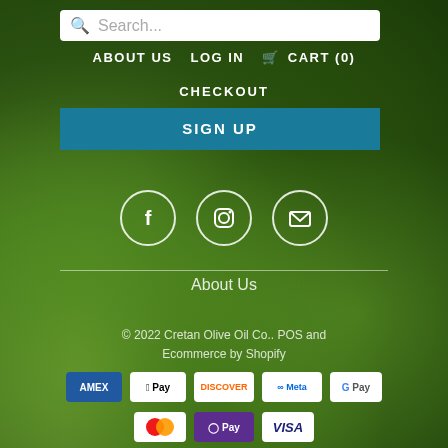[Figure (screenshot): Website navigation overlay on olive background photo showing search bar, nav links (ABOUT US, LOG IN, CART(0), CHECKOUT), SIGN UP button, social media icons (Facebook, Instagram, Email), About Us footer link, copyright notice, and payment method badges (AMEX, Apple Pay, Discover, Meta Pay, Google Pay, Mastercard, O Pay, Visa)]